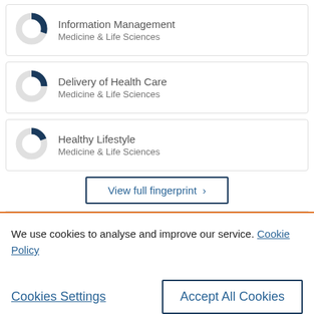[Figure (donut-chart): Partial donut chart representing Information Management - Medicine & Life Sciences]
Information Management
Medicine & Life Sciences
[Figure (donut-chart): Partial donut chart representing Delivery of Health Care - Medicine & Life Sciences]
Delivery of Health Care
Medicine & Life Sciences
[Figure (donut-chart): Partial donut chart representing Healthy Lifestyle - Medicine & Life Sciences]
Healthy Lifestyle
Medicine & Life Sciences
View full fingerprint ›
We use cookies to analyse and improve our service. Cookie Policy
Cookies Settings
Accept All Cookies